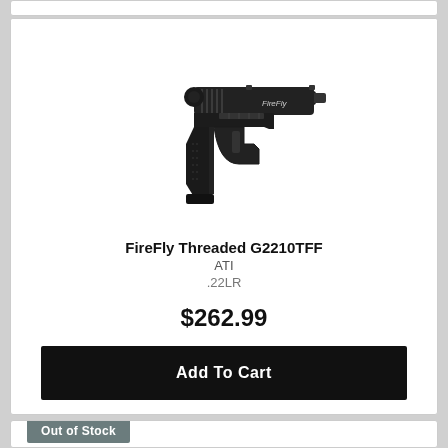[Figure (photo): Product photo of FireFly Threaded G2210TFF pistol, a black semi-automatic handgun with threaded barrel, shown in profile view on white background.]
FireFly Threaded G2210TFF
ATI
.22LR
$262.99
Add To Cart
Out of Stock